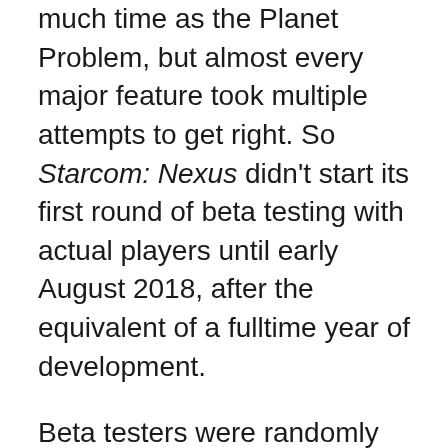much time as the Planet Problem, but almost every major feature took multiple attempts to get right. So Starcom: Nexus didn't start its first round of beta testing with actual players until early August 2018, after the equivalent of a fulltime year of development.
Beta testers were randomly selected from the game's mailing list which had been very gradually accumulating subscribers and were about as “in market” as I could expect.  If a significant portion of them didn't like the core gameplay, I had a serious problem.
Initially, I started with small test rounds of a dozen or so players with the goal of identifying the big problems, gradually increasing as Early Access launch